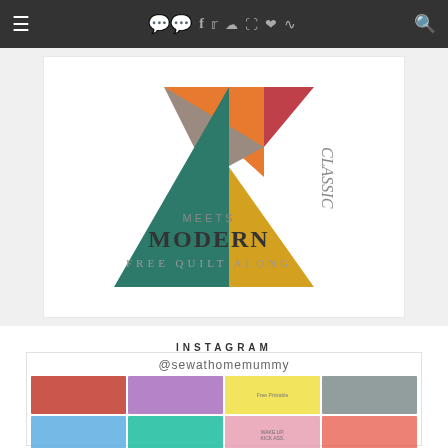≡   ◯◯  f  t  📷  P  ♥  )))   🔍
[Figure (illustration): Classic Meets Modern Free Quilt Along banner with geometric triangles in orange, teal, gray, yellow, and red colors forming a kite-like shape. Text reads 'MEETS MODERN Free Quilt Along']
INSTAGRAM
@sewathomemummy
[Figure (photo): Instagram grid showing 12 thumbnail photos from @sewathomemummy account, including sewing projects, hoodies, quilts, printables, and family photos arranged in a 4x3 grid]